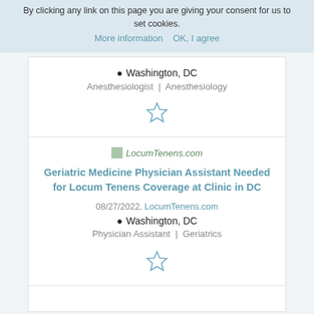By clicking any link on this page you are giving your consent for us to set cookies.
More information   OK, I agree
Washington, DC
Anesthesiologist | Anesthesiology
[Figure (other): Star (bookmark/favorite) icon, outline style]
[Figure (logo): LocumTenens.com logo image]
Geriatric Medicine Physician Assistant Needed for Locum Tenens Coverage at Clinic in DC
08/27/2022, LocumTenens.com
Washington, DC
Physician Assistant | Geriatrics
[Figure (other): Star (bookmark/favorite) icon, outline style]